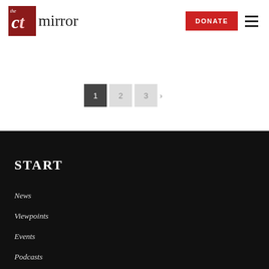the CT mirror — DONATE
[Figure (screenshot): Pagination controls showing page buttons: 1 (active/dark), 2 (inactive/grey), 3 (inactive/grey), and a next arrow]
START
News
Viewpoints
Events
Podcasts